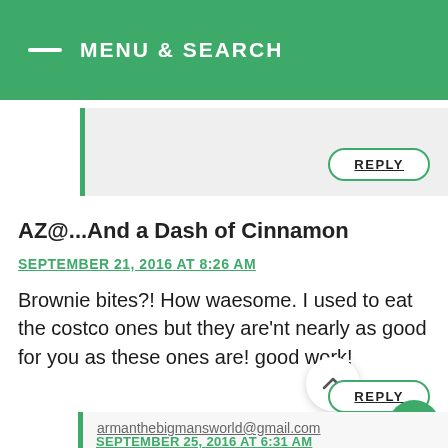MENU & SEARCH
AZ@...And a Dash of Cinnamon
SEPTEMBER 21, 2016 AT 8:26 AM
Brownie bites?! How waesome. I used to eat the costco ones but they are'nt nearly as good for you as these ones are! good work!
armanthebigmansworld@gmail.com
SEPTEMBER 25, 2016 AT 6:31 AM